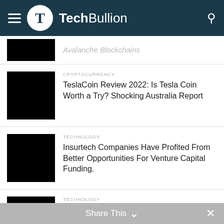TechBullion
Avalanche Blockchains (partial, cut off at top)
CRYPTOCURRENCY
TeslaCoin Review 2022: Is Tesla Coin Worth a Try? Shocking Australia Report
TECHNOLOGY
Insurtech Companies Have Profited From Better Opportunities For Venture Capital Funding.
TECHNOLOGY
Top Niche Sites to Submit a Guest Post for Free in 2022
PRESS RELEASE (partial)
Share This